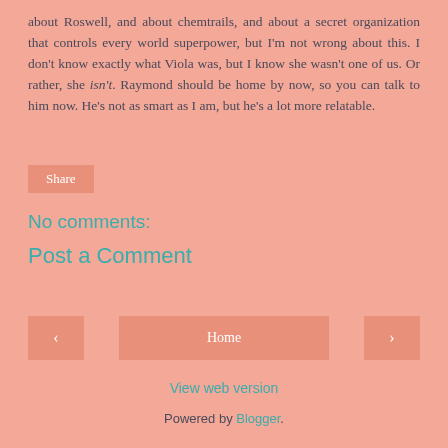about Roswell, and about chemtrails, and about a secret organization that controls every world superpower, but I'm not wrong about this. I don't know exactly what Viola was, but I know she wasn't one of us. Or rather, she isn't. Raymond should be home by now, so you can talk to him now. He's not as smart as I am, but he's a lot more relatable.
Share
No comments:
Post a Comment
‹
Home
›
View web version
Powered by Blogger.